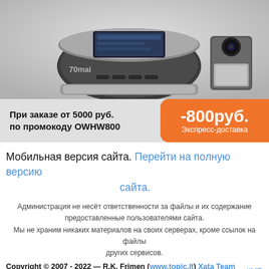[Figure (photo): Product photo of 70mai dashcam with rear camera module on grey background]
При заказе от 5000 руб. по промокоду OWHW800 -800руб. Экспресс-доставка
Мобильная версия сайта. Перейти на полную версию сайта.
Администрация не несёт ответственности за файлы и их содержание предоставленные пользователями сайта.
Мы не храним никаких материалов на своих серверах, кроме ссылок на файлы других сервисов.
Copyright © 2007 - 2022 — R.K. Frimen (www.topic.lt) Xata Team ™ #UP
Took: 0,03384 sec. Tpl: 0,00298 Mysql: 0,0021 (2).